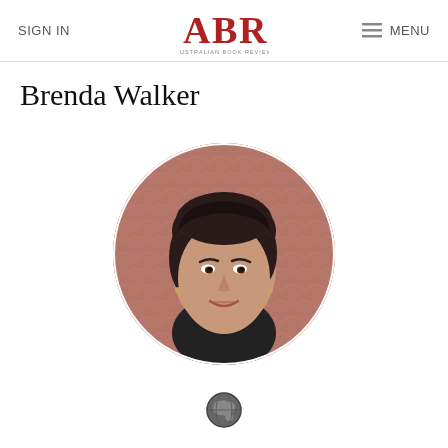SIGN IN | ABR Australian Book Review | MENU
Brenda Walker
[Figure (photo): Circular portrait photo of Brenda Walker, a woman with short dark hair, smiling, wearing a black top, against a brown textured background.]
[Figure (illustration): Small globe/world icon in dark gray]